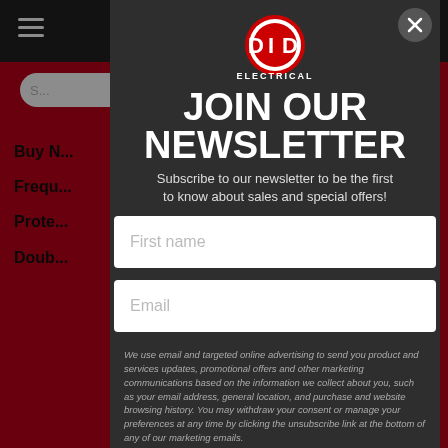[Figure (screenshot): DID Electrical website screenshot showing red header bar with hamburger menu and cart icon, red navigation bar with search oval, and partially visible sidebar navigation links (Buy N..., Frequ..., Prote..., Doub...)]
[Figure (logo): DID Electrical logo — stylized red and white circular badge with D, I, D letters and ELECTRICAL text below]
JOIN OUR NEWSLETTER
Subscribe to our newsletter to be the first to know about sales and special offers!
First name
Email
We use email and targeted online advertising to send you product and services updates, promotional offers and other marketing communications based on the information we collect about you, such as your email address, general location, and purchase and website browsing history.  You may withdraw your consent or manage your preferences at any time by clicking the unsubscribe link at the bottom of any of our marketing emails.